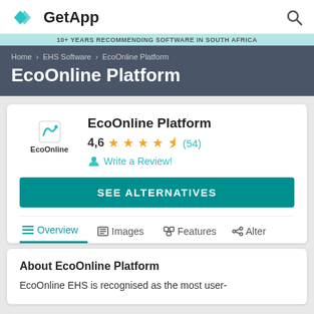[Figure (logo): GetApp logo with teal diamond shapes and bold GetApp text, plus search icon on right]
10+ YEARS RECOMMENDING SOFTWARE IN SOUTH AFRICA
Home › EHS Software › EcoOnline Platform
EcoOnline Platform
EcoOnline Platform
4,6 (54)
Write a Review!
SEE ALTERNATIVES
Overview
Images
Features
Alter
About EcoOnline Platform
EcoOnline EHS is recognised as the most user-